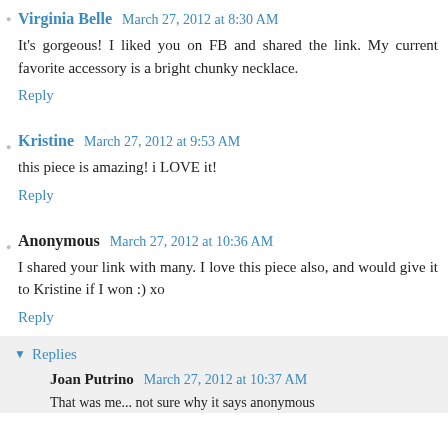Virginia Belle  March 27, 2012 at 8:30 AM
It's gorgeous! I liked you on FB and shared the link. My current favorite accessory is a bright chunky necklace.
Reply
Kristine  March 27, 2012 at 9:53 AM
this piece is amazing! i LOVE it!
Reply
Anonymous  March 27, 2012 at 10:36 AM
I shared your link with many. I love this piece also, and would give it to Kristine if I won :) xo
Reply
Replies
Joan Putrino  March 27, 2012 at 10:37 AM
That was me... not sure why it says anonymous